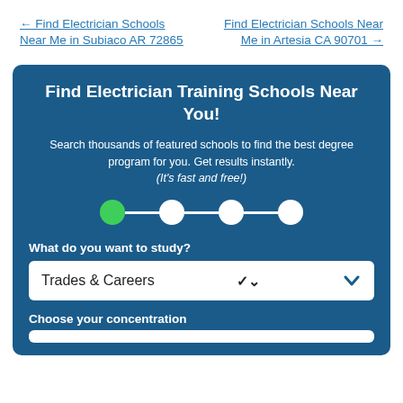← Find Electrician Schools Near Me in Subiaco AR 72865
Find Electrician Schools Near Me in Artesia CA 90701 →
Find Electrician Training Schools Near You!
Search thousands of featured schools to find the best degree program for you. Get results instantly. (It's fast and free!)
[Figure (infographic): Four step progress indicator showing step 1 (green filled circle) connected by lines to steps 2, 3, and 4 (white circles)]
What do you want to study?
Trades & Careers
Choose your concentration